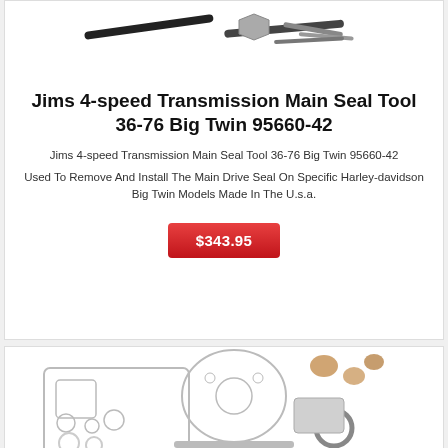[Figure (photo): Product photo showing transmission main seal tool with metal rods, nut, and pins against white background]
Jims 4-speed Transmission Main Seal Tool 36-76 Big Twin 95660-42
Jims 4-speed Transmission Main Seal Tool 36-76 Big Twin 95660-42
Used To Remove And Install The Main Drive Seal On Specific Harley-davidson Big Twin Models Made In The U.s.a.
$343.95
[Figure (photo): Product photo showing a transmission gasket and seal kit with various gaskets, O-rings, and seals laid out]